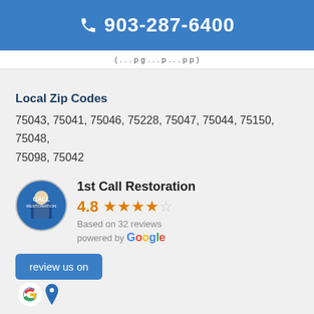903-287-6400
(navigation bar text)
Local Zip Codes
75043, 75041, 75046, 75228, 75047, 75044, 75150, 75048, 75098, 75042
[Figure (logo): 1st Call Restoration business logo - circular avatar with man in blue uniform]
1st Call Restoration
4.8 ★★★★☆
Based on 32 reviews
powered by Google
[Figure (screenshot): Review us on Google button with Google G icon and Google Maps icon below]
David Lindsay
6 months ago